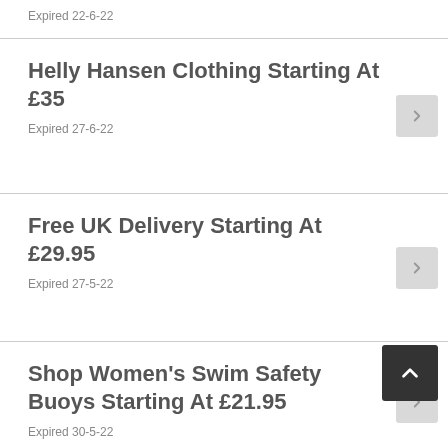Expired 22-6-22
Helly Hansen Clothing Starting At £35
Expired 27-6-22
Free UK Delivery Starting At £29.95
Expired 27-5-22
Shop Women's Swim Safety Buoys Starting At £21.95
Expired 30-5-22